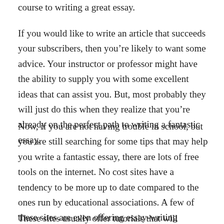course to writing a great essay.
If you would like to write an article that succeeds your subscribers, then you’re likely to want some advice. Your instructor or professor might have the ability to supply you with some excellent ideas that can assist you. But, most probably they will just do this when they realize that you’re already on the perfect path to writing a fantastic essay.
Now, if you are not having trouble in school, but you are still searching for some tips that may help you write a fantastic essay, there are lots of free tools on the internet. No cost sites have a tendency to be more up to date compared to the ones run by educational associations. A few of these sites are even offering essay-writing software.
These sites usually offer tutorials that will